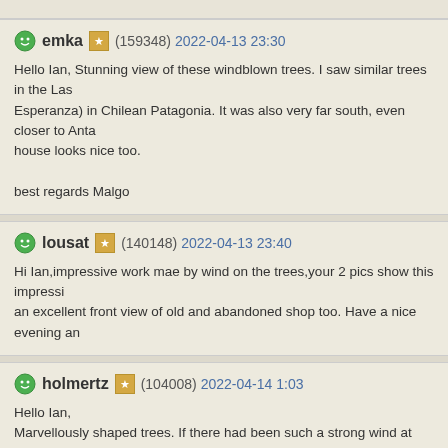emka (159348) 2022-04-13 23:30
Hello Ian, Stunning view of these windblown trees. I saw similar trees in the Las Esperanza) in Chilean Patagonia. It was also very far south, even closer to Anta house looks nice too.
best regards Malgo
lousat (140148) 2022-04-13 23:40
Hi Ian,impressive work mae by wind on the trees,your 2 pics show this impressi an excellent front view of old and abandoned shop too. Have a nice evening an
holmertz (104008) 2022-04-14 1:03
Hello Ian,
Marvellously shaped trees. If there had been such a strong wind at that momen you would have been blown away. The powers of nature are amazing. The villa such abandoned shops as in the WS, but of course the style is different.
Best regards,
Gert